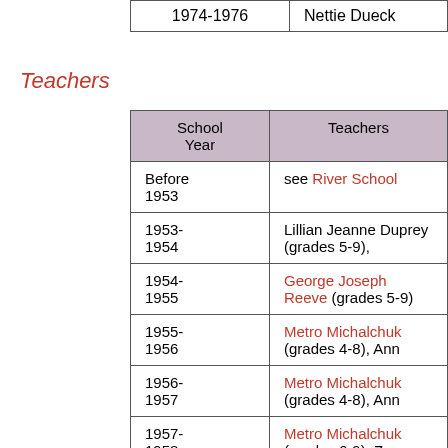|  |  |
| --- | --- |
| 1974-1976 | Nettie Dueck |
Teachers
| School Year | Teachers |
| --- | --- |
| Before 1953 | see River School |
| 1953-1954 | Lillian Jeanne Duprey (grades 5-9), |
| 1954-1955 | George Joseph Reeve (grades 5-9) |
| 1955-1956 | Metro Michalchuk (grades 4-8), Ann |
| 1956-1957 | Metro Michalchuk (grades 4-8), Ann |
| 1957-1958 | Metro Michalchuk (grades 6-9), Ze... Anne Zubachek (grades 1-3) |